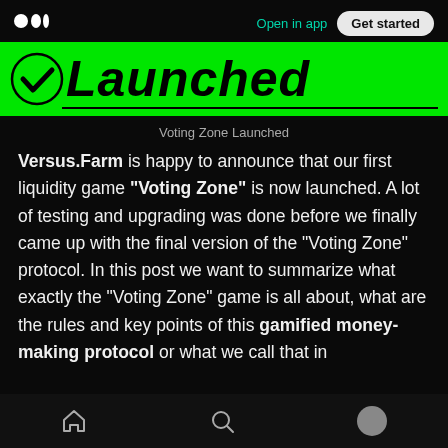Open in app | Get started
[Figure (illustration): Green banner with checkmark icon and bold italic text 'Launched' with black underline]
Voting Zone Launched
Versus.Farm is happy to announce that our first liquidity game "Voting Zone" is now launched. A lot of testing and upgrading was done before we finally came up with the final version of the "Voting Zone" protocol. In this post we want to summarize what exactly the "Voting Zone" game is all about, what are the rules and key points of this gamified money-making protocol or what we call that in
Home | Search | Profile